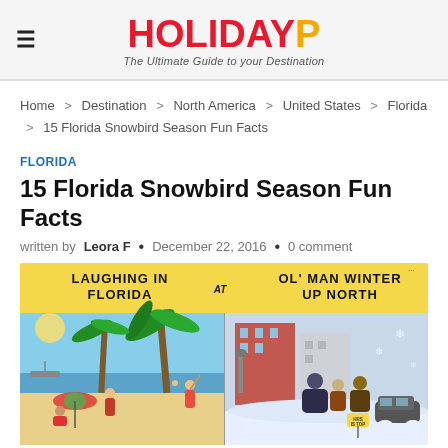HOLIDAYP — The Ultimate Guide to your Destination
Home > Destination > North America > United States > Florida > 15 Florida Snowbird Season Fun Facts
FLORIDA
15 Florida Snowbird Season Fun Facts
written by Leora F  •  December 22, 2016  •  0 comment
[Figure (illustration): Vintage comic postcard split panel: left side shows people laughing in Florida on a sunny beach with palm trees; right side shows Ol' Man Winter up north with people bundled in snow. Text reads 'LAUGHING IN FLORIDA AT OL' MAN WINTER UP NORTH'.]